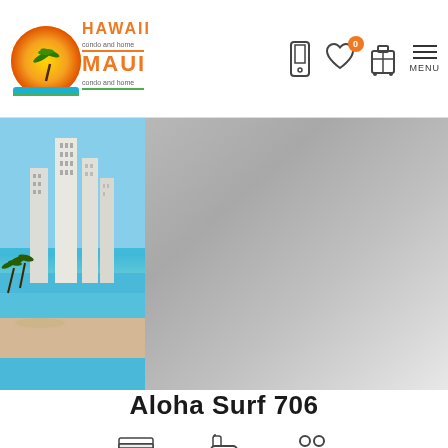Hawaii Condo and Home / Maui Condo and Home — navigation header with logo, phone icon, heart icon (0), luggage icon, and MENU
[Figure (photo): Split hero image: left side shows aerial photo of Waikiki beach with tall hotel buildings and turquoise water; right side is a large gray gradient placeholder image area]
Aloha Surf 706
[Figure (infographic): Three small icons at bottom: bed/room icon, bathroom icon, and guests/people icon]